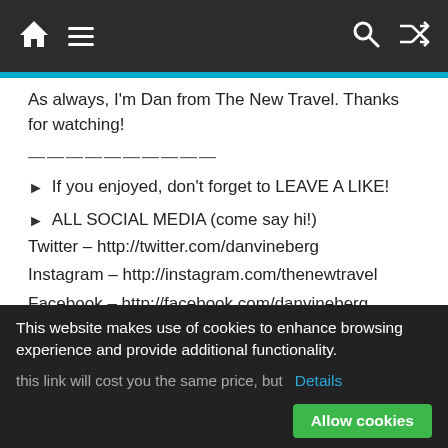Navigation bar with home, menu, search, and shuffle icons
As always, I'm Dan from The New Travel. Thanks for watching!
——————————
► If you enjoyed, don't forget to LEAVE A LIKE!
► ALL SOCIAL MEDIA (come say hi!) Twitter – http://twitter.com/danvineberg Instagram – http://instagram.com/thenewtravel Facebook – http://facebook.com/danvineberg
——————————
► What camera gear do you use?
This website makes use of cookies to enhance browsing experience and provide additional functionality. Details  Allow cookies